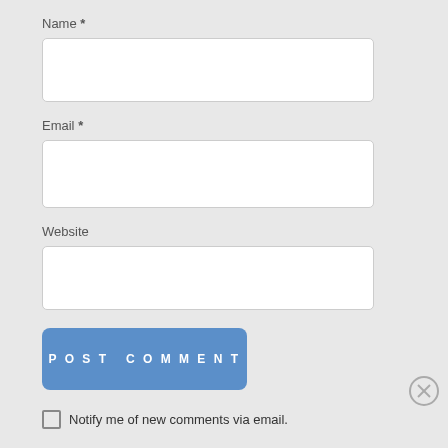Name *
[Figure (screenshot): Empty text input box for Name field]
Email *
[Figure (screenshot): Empty text input box for Email field]
Website
[Figure (screenshot): Empty text input box for Website field]
[Figure (screenshot): Blue Post Comment button]
Notify me of new comments via email.
Advertisements
[Figure (screenshot): DuckDuckGo advertisement banner: Search, browse, and email with more privacy. All in One Free App]